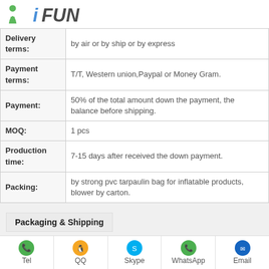[Figure (logo): iFUN company logo with green figure icon and stylized text]
| Delivery terms: | by air or by ship or by express |
| Payment terms: | T/T, Western union,Paypal or Money Gram. |
| Payment: | 50% of the total amount down the payment, the balance before shipping. |
| MOQ: | 1 pcs |
| Production time: | 7-15 days after received the down payment. |
| Packing: | by strong pvc tarpaulin bag for inflatable products, blower by carton. |
Packaging & Shipping
Tel   QQ   Skype   WhatsApp   Email